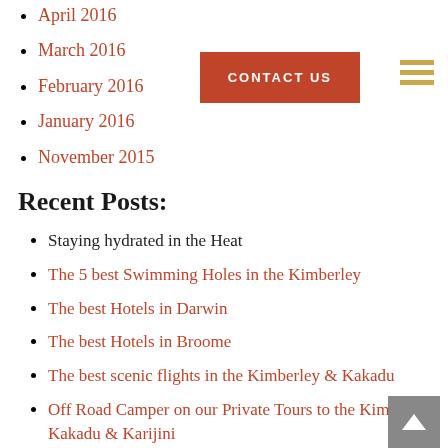April 2016
March 2016
February 2016
January 2016
November 2015
Recent Posts:
Staying hydrated in the Heat
The 5 best Swimming Holes in the Kimberley
The best Hotels in Darwin
The best Hotels in Broome
The best scenic flights in the Kimberley & Kakadu
Off Road Camper on our Private Tours to the Kimberley, Kakadu & Karijini
Dining out in Broome